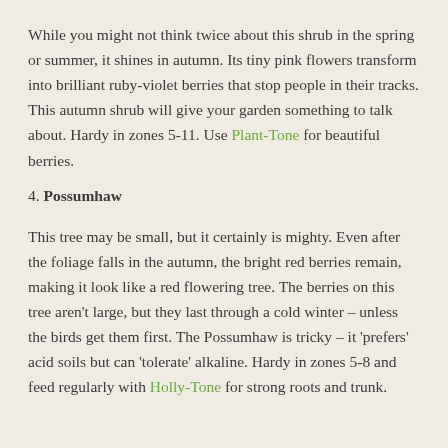While you might not think twice about this shrub in the spring or summer, it shines in autumn. Its tiny pink flowers transform into brilliant ruby-violet berries that stop people in their tracks. This autumn shrub will give your garden something to talk about. Hardy in zones 5-11. Use Plant-Tone for beautiful berries.
4. Possumhaw
This tree may be small, but it certainly is mighty. Even after the foliage falls in the autumn, the bright red berries remain, making it look like a red flowering tree. The berries on this tree aren't large, but they last through a cold winter – unless the birds get them first. The Possumhaw is tricky – it 'prefers' acid soils but can 'tolerate' alkaline. Hardy in zones 5-8 and feed regularly with Holly-Tone for strong roots and trunk.